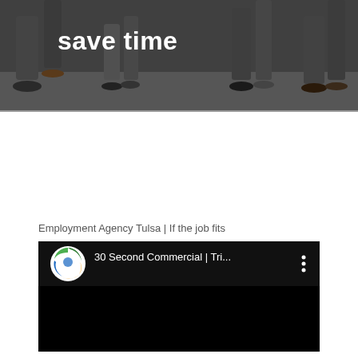[Figure (photo): Hero banner image showing people's legs and feet standing/sitting, with dark overlay. White bold text 'save time' visible on the left side.]
Employment Agency Tulsa | If the job fits
[Figure (screenshot): YouTube video embed showing '30 Second Commercial | Tri...' with a circular channel logo (green/blue/yellow swirl icon) on the left, video title in white text, and three vertical dots menu icon on the right. Main video area is black.]